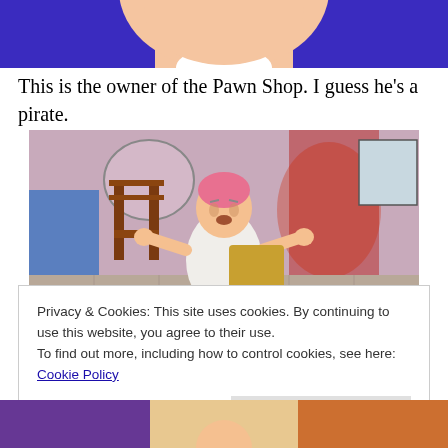[Figure (illustration): Partial illustration of a cartoon character — cropped view showing neck/chest area with blue costume, part of a face visible at top.]
This is the owner of the Pawn Shop. I guess he's a pirate.
[Figure (illustration): Cartoon illustration of an elderly man with pink hair wearing a white robe and pink slippers, arms outstretched, standing in a room with a wooden chair, blue furniture, and a reddish curtain or ghost-like figure.]
Privacy & Cookies: This site uses cookies. By continuing to use this website, you agree to their use.
To find out more, including how to control cookies, see here: Cookie Policy
[Figure (illustration): Partial bottom crop of another cartoon illustration — shows the top portion of animated characters.]